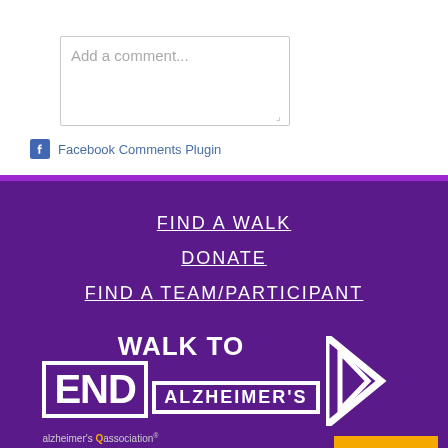[Figure (screenshot): A text input box with placeholder text 'Add a comment...' and a resize handle in the bottom-right corner.]
Facebook Comments Plugin
[Figure (infographic): Walk to End Alzheimer's branded footer with purple background, navigation links (FIND A WALK, DONATE, FIND A TEAM/PARTICIPANT), Walk to End Alzheimer's logo with arrow graphic, NEED HELP? button, and alzheimer's association sub-text.]